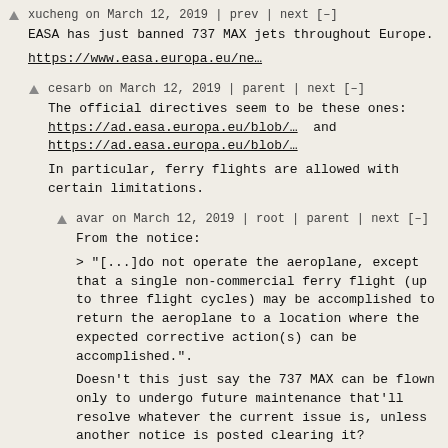xucheng on March 12, 2019 | prev | next [–]
EASA has just banned 737 MAX jets throughout Europe.
https://www.easa.europa.eu/ne…
cesarb on March 12, 2019 | parent | next [–]
The official directives seem to be these ones: https://ad.easa.europa.eu/blob/…  and https://ad.easa.europa.eu/blob/…
In particular, ferry flights are allowed with certain limitations.
avar on March 12, 2019 | root | parent | next [–]
From the notice:
> "[...]do not operate the aeroplane, except that a single non-commercial ferry flight (up to three flight cycles) may be accomplished to return the aeroplane to a location where the expected corrective action(s) can be accomplished.".
Doesn't this just say the 737 MAX can be flown only to undergo future maintenance that'll resolve whatever the current issue is, unless another notice is posted clearing it?
eric_b on March 12, 2019 | prev | next [–]
At the gym today, on all the TVs, the media talking heads were crucifying the FAA for being "unsafe" or playing fast and loose with passenger safety (for not grounding the aircraft).